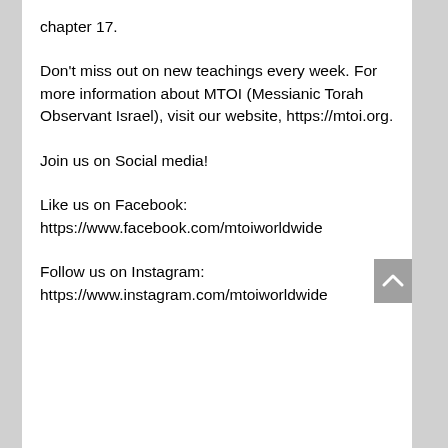chapter 17.
Don't miss out on new teachings every week. For more information about MTOI (Messianic Torah Observant Israel), visit our website, https://mtoi.org.
Join us on Social media!
Like us on Facebook:
https://www.facebook.com/mtoiworldwide
Follow us on Instagram:
https://www.instagram.com/mtoiworldwide